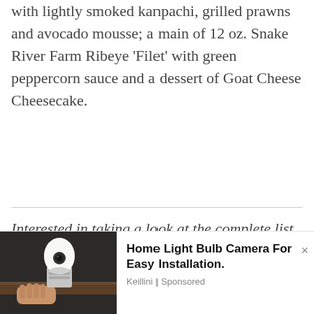with lightly smoked kanpachi, grilled prawns and avocado mousse; a main of 12 oz. Snake River Farm Ribeye 'Filet' with green peppercorn sauce and a dessert of Goat Cheese Cheesecake.
Interested in taking a look at the complete list of participating restaurants? Check out the lineup here.
advertisements
[Figure (photo): Advertisement banner showing a home light bulb camera product photo on the left (person holding a white camera-equipped light bulb) and ad text on the right: 'Home Light Bulb Camera For Easy Installation.' by Keillini | Sponsored]